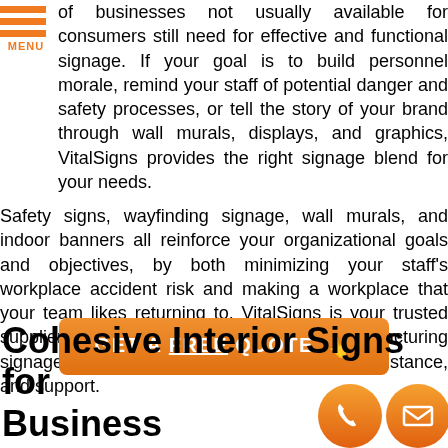[Figure (other): Orange hamburger menu icon with three horizontal bars and MENU label]
of businesses not usually available for consumers still need for effective and functional signage. If your goal is to build personnel morale, remind your staff of potential danger and safety processes, or tell the story of your brand through wall murals, displays, and graphics, VitalSigns provides the right signage blend for your needs.
Safety signs, wayfinding signage, wall murals, and indoor banners all reinforce your organizational goals and objectives, by both minimizing your staff's workplace accident risk and making a workplace that your team likes returning to. VitalSigns is your trusted supplier of high-quality and attractive manufacturing signage elements, offering you guidance, assistance, and support.
GET A FREE QUOTE
Cohesive Interior Signs for Business
[Figure (other): Two orange circular contact buttons — phone icon and email/envelope icon]